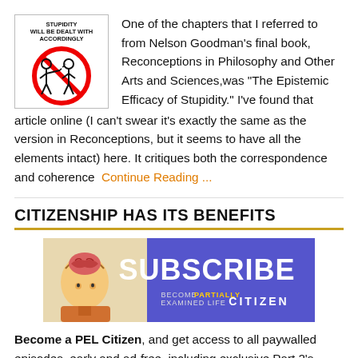[Figure (illustration): A circular red 'no' sign over two stick figures, one appearing to point at the other, with text 'STUPIDITY WILL BE DEALT WITH ACCORDINGLY' above inside the image.]
One of the chapters that I referred to from Nelson Goodman's final book, Reconceptions in Philosophy and Other Arts and Sciences,was "The Epistemic Efficacy of Stupidity." I've found that article online (I can't swear it's exactly the same as the version in Reconceptions, but it seems to have all the elements intact) here. It critiques both the correspondence and coherence  Continue Reading ...
CITIZENSHIP HAS ITS BENEFITS
[Figure (illustration): A subscribe banner showing a cartoon character with an open brain, with text 'SUBSCRIBE BECOME A PARTIALLY EXAMINED LIFE CITIZEN' on a blue/purple background.]
Become a PEL Citizen, and get access to all paywalled episodes, early and ad-free, including exclusive Part 2's